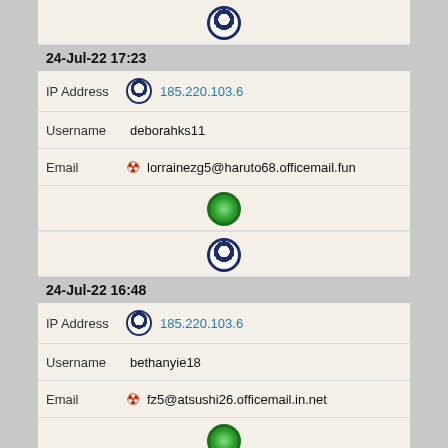[Figure (infographic): Tor browser icon (dark blue circle with white inner circle)]
24-Jul-22 17:23
IP Address 185.220.103.6
Username deborahks11
Email lorrainezg5@haruto68.officemail.fun
[Figure (infographic): Green globe icon]
[Figure (infographic): Tor browser icon (dark blue circle with white inner circle)]
24-Jul-22 16:48
IP Address 185.220.103.6
Username bethanyie18
Email fz5@atsushi26.officemail.in.net
[Figure (infographic): Green globe icon]
[Figure (infographic): Tor browser icon (dark blue circle with white inner circle)]
24-Jul-22 16:48
IP Address 185.220.103.6
Username bethanyie18
Email fz5@atsushi26.officemail.in.net